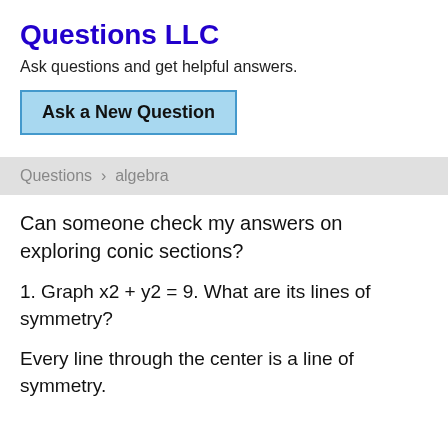Questions LLC
Ask questions and get helpful answers.
Ask a New Question
Questions › algebra
Can someone check my answers on exploring conic sections?
1. Graph x2 + y2 = 9. What are its lines of symmetry?
Every line through the center is a line of symmetry.